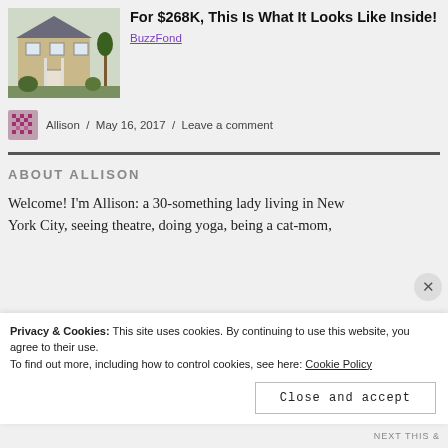[Figure (photo): Photo of a townhouse exterior with siding and landscaping]
For $268K, This Is What It Looks Like Inside!
BuzzFond
Allison / May 16, 2017 / Leave a comment
ABOUT ALLISON
Welcome! I'm Allison: a 30-something lady living in New York City, seeing theatre, doing yoga, being a cat-mom,
Privacy & Cookies: This site uses cookies. By continuing to use this website, you agree to their use.
To find out more, including how to control cookies, see here: Cookie Policy
Close and accept